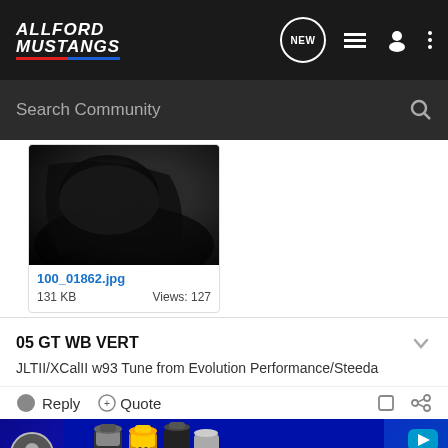AllFord Mustangs - navigation bar with NEW, list, user, and menu icons
Search Community
[Figure (photo): Dark interior car photo thumbnail]
100_01862.jpg
131 KB    Views: 127
05 GT WB VERT
JLTII/XCalII w93 Tune from Evolution Performance/Steeda
Reply   Quote
[Figure (photo): Advertisement banner with spray cans on blue background]